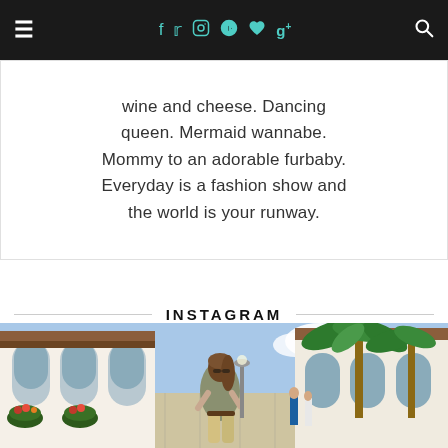Navigation bar with hamburger menu, social icons (f, t, camera, pinterest, heart, g+), and search icon
wine and cheese. Dancing queen. Mermaid wannabe. Mommy to an adorable furbaby. Everyday is a fashion show and the world is your runway.
INSTAGRAM
[Figure (photo): Outdoor lifestyle photo of a woman in sunglasses wearing a grey t-shirt and denim shorts with a belt, walking through a Mediterranean-style shopping plaza with arched windows, palm trees, and blue sky in the background.]